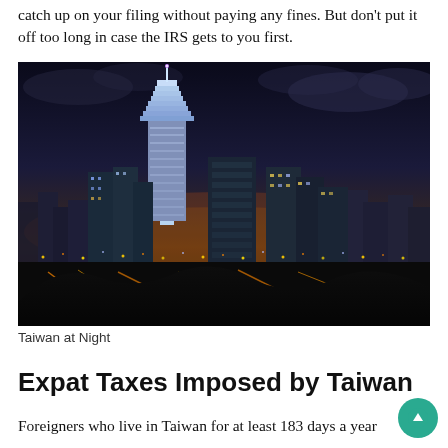catch up on your filing without paying any fines. But don't put it off too long in case the IRS gets to you first.
[Figure (photo): Aerial night view of Taipei, Taiwan skyline featuring Taipei 101 tower illuminated against a dusk sky with city lights spread across the valley]
Taiwan at Night
Expat Taxes Imposed by Taiwan
Foreigners who live in Taiwan for at least 183 days a year are considered residents. Residents are taxed on their in-